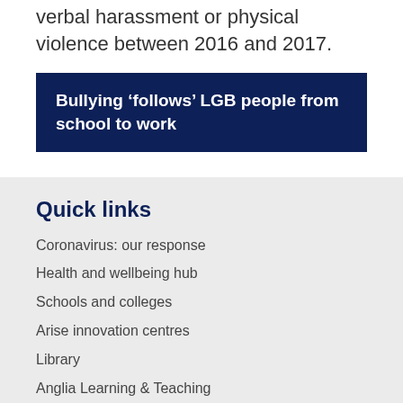verbal harassment or physical violence between 2016 and 2017.
Bullying ‘follows’ LGB people from school to work
Quick links
Coronavirus: our response
Health and wellbeing hub
Schools and colleges
Arise innovation centres
Library
Anglia Learning & Teaching